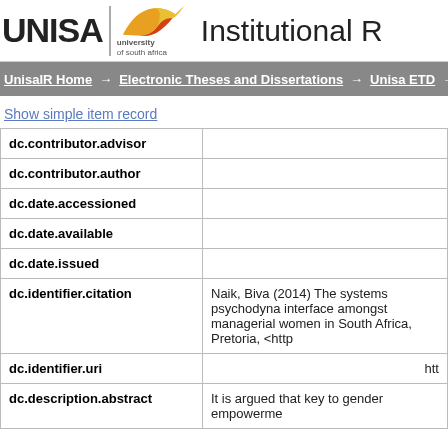UNISA | university of south africa — Institutional R
UnisaIR Home → Electronic Theses and Dissertations → Unisa ETD →
Show simple item record
| Field | Value |
| --- | --- |
| dc.contributor.advisor |  |
| dc.contributor.author |  |
| dc.date.accessioned |  |
| dc.date.available |  |
| dc.date.issued |  |
| dc.identifier.citation | Naik, Biva (2014) The systems psychodyna interface amongst managerial women in South Africa, Pretoria, <http |
| dc.identifier.uri | htt |
| dc.description.abstract | It is argued that key to gender empowerme |